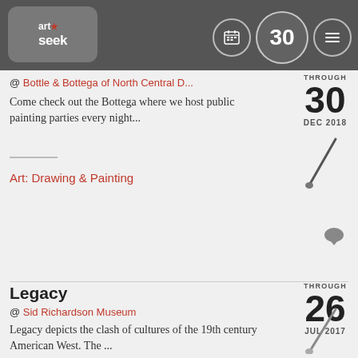[Figure (logo): ArtSeek logo with red star, white text on grey rounded rectangle, overlaid on dark grey header bar with calendar icon, '30' in circle, and hamburger menu icon]
@ Bottle & Bottega of North Central D...
Come check out the Bottega where we host public painting parties every night...
THROUGH 30 DEC 2018
Art: Drawing & Painting
Legacy
@ Sid Richardson Museum
Legacy depicts the clash of cultures of the 19th century American West. The ...
THROUGH 26 JUL 2017